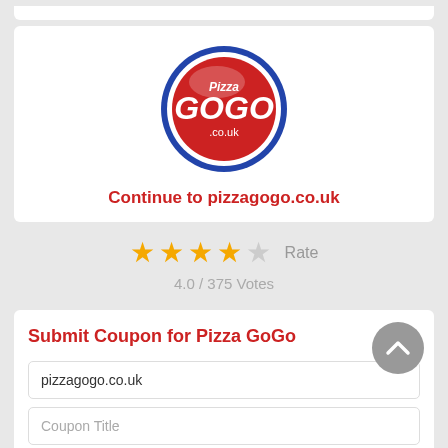[Figure (logo): Pizza GoGo logo: circular badge with blue border, red background, white text reading 'Pizza GOGO .co.uk']
Continue to pizzagogo.co.uk
4.0 / 375 Votes
Submit Coupon for Pizza GoGo
pizzagogo.co.uk
Coupon Title